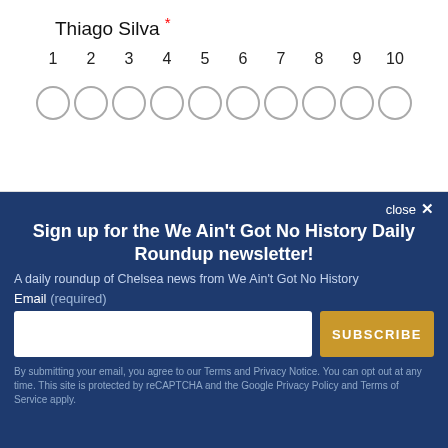Thiago Silva *
[Figure (other): A rating scale from 1 to 10 with 10 empty radio circles below the numbers]
close ×
Sign up for the We Ain't Got No History Daily Roundup newsletter!
A daily roundup of Chelsea news from We Ain't Got No History
Email (required)
SUBSCRIBE
By submitting your email, you agree to our Terms and Privacy Notice. You can opt out at any time. This site is protected by reCAPTCHA and the Google Privacy Policy and Terms of Service apply.